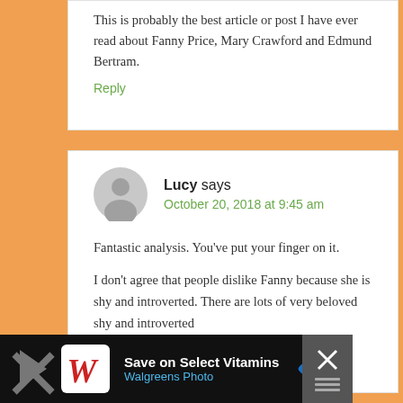This is probably the best article or post I have ever read about Fanny Price, Mary Crawford and Edmund Bertram.
Reply
Lucy says October 20, 2018 at 9:45 am
Fantastic analysis. You've put your finger on it.
I don't agree that people dislike Fanny because she is shy and introverted. There are lots of very beloved shy and introverted
[Figure (other): Walgreens advertisement banner: Save on Select Vitamins, Walgreens Photo, with Walgreens logo, a blue navigation arrow icon, and a close button with X.]